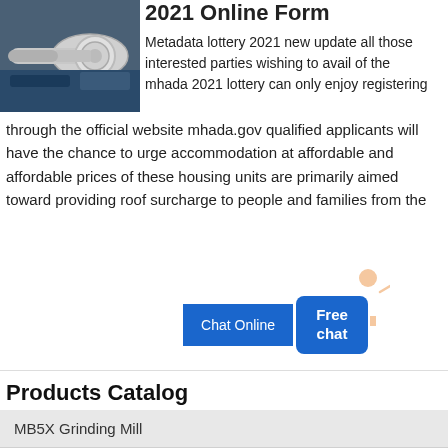[Figure (photo): Industrial machinery component — a large cylindrical metal shaft or roller mounted on equipment, photographed in an industrial setting with blue machinery visible]
2021 Online Form
Metadata lottery 2021 new update all those interested parties wishing to avail of the mhada 2021 lottery can only enjoy registering through the official website mhada.gov qualified applicants will have the chance to urge accommodation at affordable and affordable prices of these housing units are primarily aimed toward providing roof surcharge to people and families from the
[Figure (illustration): Small illustration of a woman in white clothing with hand raised, representing a customer service chat agent]
Products Catalog
MB5X Grinding Mill
LUM Ultrafine Vertical Mill
Hammer Mill
Ball Mill
MTM Series Trapezium Mill